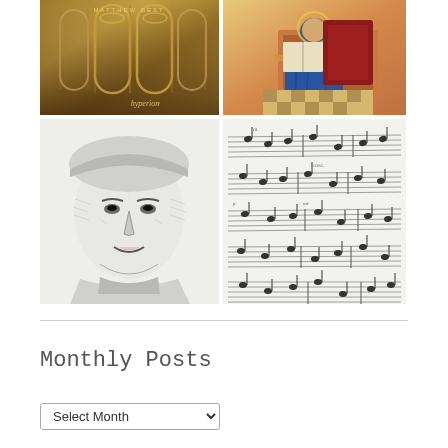[Figure (photo): Four-image grid: top-left is a Hyperion album cover with golden gothic arches; top-right is a medieval illuminated manuscript painting of a figure in blue robes seated at a wooden desk; bottom-left is a black-and-white engraving of a Renaissance-era male face; bottom-right is a page of handwritten musical score/manuscript notation.]
Monthly Posts
Select Month